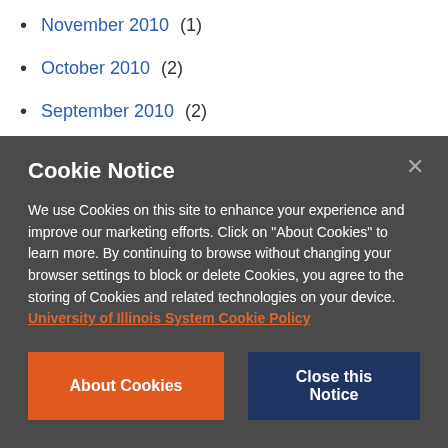November 2010 (1)
October 2010 (2)
September 2010 (2)
August 2010 (1)
July 2010 (2)
June 2010 (2)
May 2010 (2)
Cookie Notice

We use Cookies on this site to enhance your experience and improve our marketing efforts. Click on "About Cookies" to learn more. By continuing to browse without changing your browser settings to block or delete Cookies, you agree to the storing of Cookies and related technologies on your device. University of Illinois System Cookie Policy
About Cookies  Close this Notice